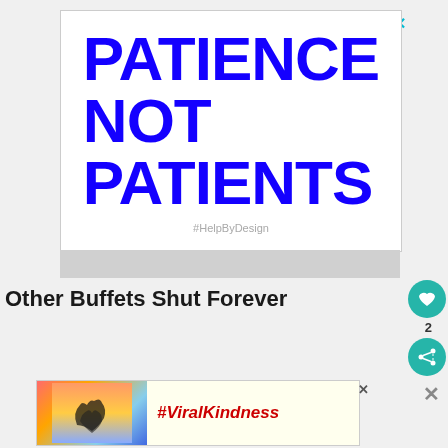[Figure (illustration): White advertisement box with bold blue text reading PATIENCE NOT PATIENTS in large bold uppercase letters, with hashtag #HelpByDesign below in gray, and a teal close X in top right]
Other Buffets Shut Forever
[Figure (illustration): Advertisement banner showing hands forming a heart shape against sunset sky, with #ViralKindness text in dark red italic]